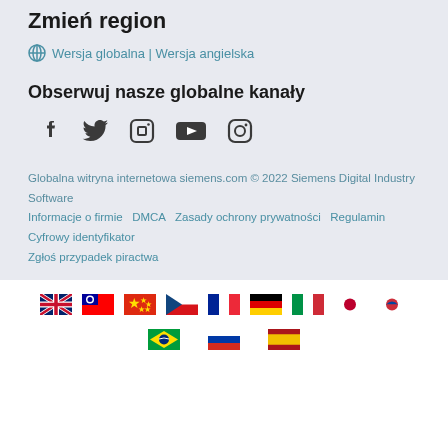Zmień region
Wersja globalna | Wersja angielska
Obserwuj nasze globalne kanały
[Figure (illustration): Social media icons: Facebook, Twitter, LinkedIn, YouTube, Instagram]
Globalna witryna internetowa siemens.com © 2022 Siemens Digital Industry Software  Informacje o firmie  DMCA  Zasady ochrony prywatności  Regulamin  Cyfrowy identyfikator  Zgłoś przypadek piractwa
[Figure (illustration): Row of country flags: UK, Taiwan, China, Czech Republic, France, Germany, Italy, Japan, South Korea, Brazil, Russia, Spain]